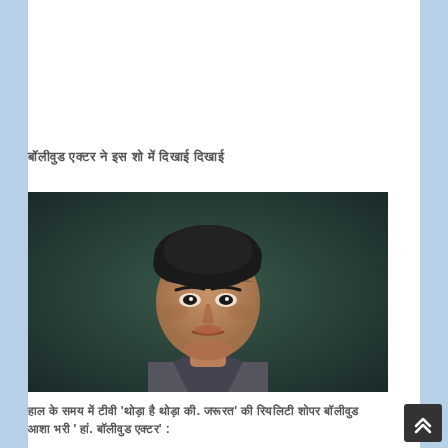बॉलीवुड एक्टर ने इस शो में दिखाई दिखाई
[Figure (photo): Portrait photo of a young South Asian male actor with dark hair, wearing a dark jacket, looking directly at the camera against a dark greenish background]
हाल के समय में टीवी 'थोड़ा है थोड़ा की. जरूरत' की रियलिटी शोपर बॉलीवुड आशा भरी ' हां. बॉलीवुड एक्टर' :